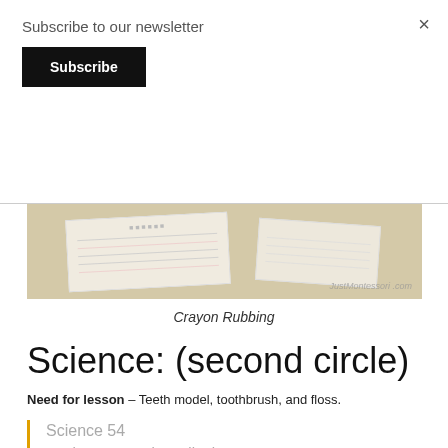Subscribe to our newsletter
Subscribe
[Figure (photo): Photo of crayon rubbing papers/cards on a textured beige surface with JustMontessori.com watermark]
Crayon Rubbing
Science: (second circle)
Need for lesson – Teeth model, toothbrush, and floss.
Science 54
We have started to talk about